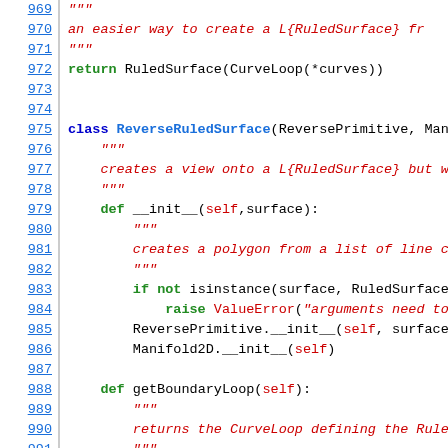Source code listing lines 969-991, Python class ReverseRuledSurface
969: """
970: an easier way to create a L{RuledSurface} fr
971: """
972: return RuledSurface(CurveLoop(*curves))
973: (empty)
974: (empty)
975: class ReverseRuledSurface(ReversePrimitive, Manifo
976: """
977: creates a view onto a L{RuledSurface} but with
978: """
979: def __init__(self, surface):
980: """
981: creates a polygon from a list of line curve
982: """
983: if not isinstance(surface, RuledSurface):
984: raise ValueError("arguments need to be
985: ReversePrimitive.__init__(self, surface)
986: Manifold2D.__init__(self)
987: (empty)
988: def getBoundaryLoop(self):
989: """
990: returns the CurveLoop defining the RuledSur
991: """